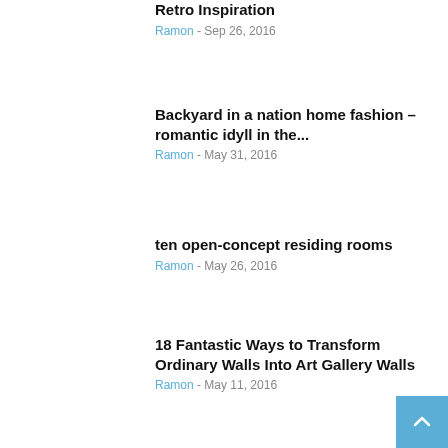Retro Inspiration
Ramon - Sep 26, 2016
Backyard in a nation home fashion – romantic idyll in the...
Ramon - May 31, 2016
ten open-concept residing rooms
Ramon - May 26, 2016
18 Fantastic Ways to Transform Ordinary Walls Into Art Gallery Walls
Ramon - May 11, 2016